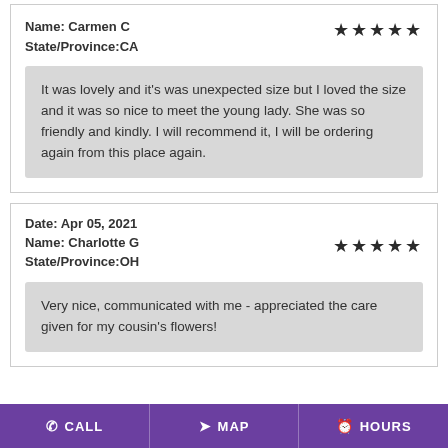Name: Carmen C | State/Province: CA | Rating: 5 stars
It was lovely and it's was unexpected size but I loved the size and it was so nice to meet the young lady. She was so friendly and kindly. I will recommend it, I will be ordering again from this place again.
Date: Apr 05, 2021 | Name: Charlotte G | State/Province: OH | Rating: 5 stars
Very nice, communicated with me - appreciated the care given for my cousin's flowers!
CALL | MAP | HOURS